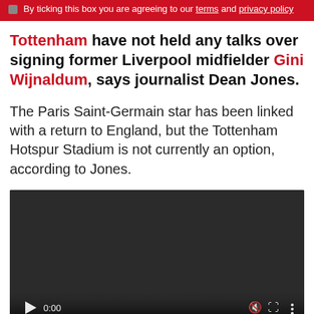By ticking this box you are agreeing to our terms and privacy policy
Tottenham have not held any talks over signing former Liverpool midfielder Gini Wijnaldum, says journalist Dean Jones.
The Paris Saint-Germain star has been linked with a return to England, but the Tottenham Hotspur Stadium is not currently an option, according to Jones.
[Figure (screenshot): Embedded video player with dark background and controls showing play button, 0:00 timestamp, mute icon, fullscreen icon, and options icon]